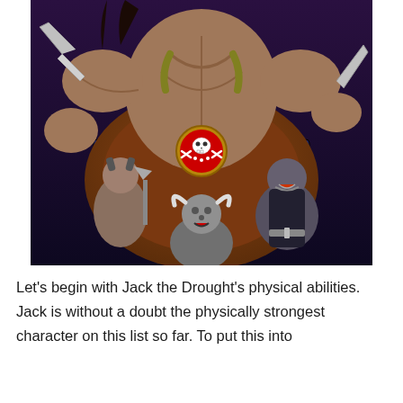[Figure (illustration): Anime screenshot from One Piece showing Jack the Drought, a large muscular figure in the center with a skull belt buckle, flanked by several large beast pirates warriors with weapons, in a dramatic action pose.]
Let's begin with Jack the Drought's physical abilities. Jack is without a doubt the physically strongest character on this list so far. To put this into